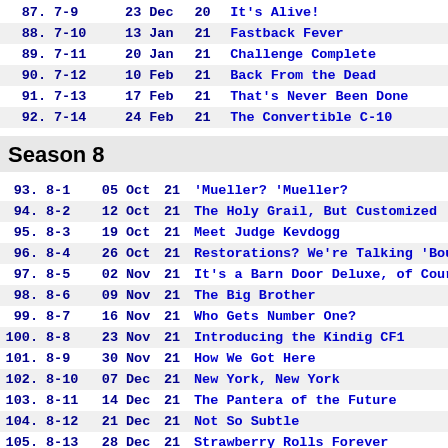| # | Ep | Day | Mon | Yr | Title |
| --- | --- | --- | --- | --- | --- |
| 87. | 7-9 | 23 | Dec | 20 | It's Alive! |
| 88. | 7-10 | 13 | Jan | 21 | Fastback Fever |
| 89. | 7-11 | 20 | Jan | 21 | Challenge Complete |
| 90. | 7-12 | 10 | Feb | 21 | Back From the Dead |
| 91. | 7-13 | 17 | Feb | 21 | That's Never Been Done |
| 92. | 7-14 | 24 | Feb | 21 | The Convertible C-10 |
Season 8
| # | Ep | Day | Mon | Yr | Title |
| --- | --- | --- | --- | --- | --- |
| 93. | 8-1 | 05 | Oct | 21 | 'Mueller? 'Mueller? |
| 94. | 8-2 | 12 | Oct | 21 | The Holy Grail, But Customized |
| 95. | 8-3 | 19 | Oct | 21 | Meet Judge Kevdogg |
| 96. | 8-4 | 26 | Oct | 21 | Restorations? We're Talking 'Bout |
| 97. | 8-5 | 02 | Nov | 21 | It's a Barn Door Deluxe, of Course |
| 98. | 8-6 | 09 | Nov | 21 | The Big Brother |
| 99. | 8-7 | 16 | Nov | 21 | Who Gets Number One? |
| 100. | 8-8 | 23 | Nov | 21 | Introducing the Kindig CF1 |
| 101. | 8-9 | 30 | Nov | 21 | How We Got Here |
| 102. | 8-10 | 07 | Dec | 21 | New York, New York |
| 103. | 8-11 | 14 | Dec | 21 | The Pantera of the Future |
| 104. | 8-12 | 21 | Dec | 21 | Not So Subtle |
| 105. | 8-13 | 28 | Dec | 21 | Strawberry Rolls Forever |
| 106. | 8-14 | 04 | Jan | 22 | Now That Is a Bitchin' Ride |